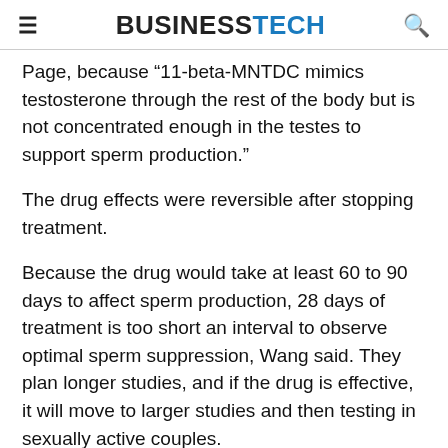BUSINESSTECH
Page, because “11-beta-MNTDC mimics testosterone through the rest of the body but is not concentrated enough in the testes to support sperm production.”
The drug effects were reversible after stopping treatment.
Because the drug would take at least 60 to 90 days to affect sperm production, 28 days of treatment is too short an interval to observe optimal sperm suppression, Wang said. They plan longer studies, and if the drug is effective, it will move to larger studies and then testing in sexually active couples.
11-Beta-MNTDC is a “sister compound” to